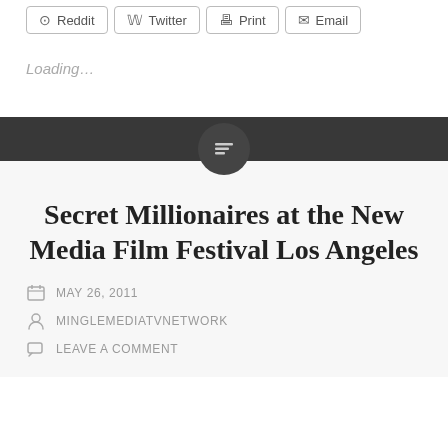Reddit  Twitter  Print  Email
Loading...
Secret Millionaires at the New Media Film Festival Los Angeles
MAY 26, 2011
MINGLEMEDIATVNETWORK
LEAVE A COMMENT